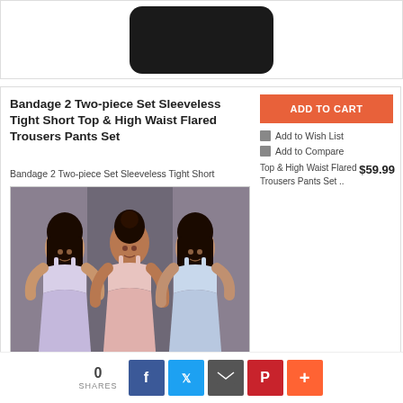[Figure (photo): Dark rounded-rectangle product image against white background (top strip)]
Bandage 2 Two-piece Set Sleeveless Tight Short Top & High Waist Flared Trousers Pants Set
Bandage 2 Two-piece Set Sleeveless Tight Short
[Figure (photo): Three women in matching two-piece crop top and high-waist flared pants sets in white, pink, and blue colors]
ADD TO CART
Add to Wish List
Add to Compare
Top & High Waist Flared Trousers Pants Set .. $59.99
0 SHARES